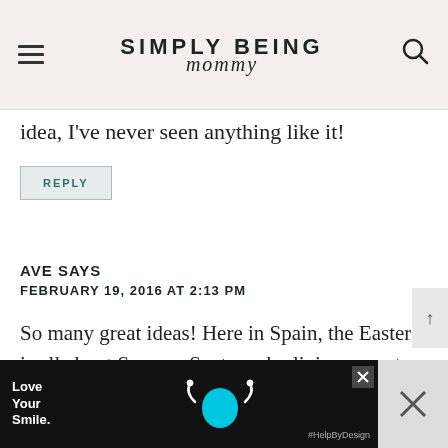SIMPLY BEING mommy
…p  go idea, I've never seen anything like it!
REPLY
AVE SAYS
FEBRUARY 19, 2016 AT 2:13 PM
So many great ideas! Here in Spain, the Easter is all about Semana Santa and religious events. We don't have
[Figure (other): Advertisement banner: Love Your Smile with tooth graphic and #HelpByDesign hashtag]